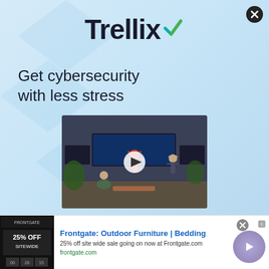[Figure (infographic): Trellix cybersecurity advertisement with light blue gradient background, decorative diamond shapes, Trellix logo with checkmark, tagline 'Get cybersecurity with less stress', and a video thumbnail showing people doing yoga in an office/SOC environment with a play button overlay]
Trellix
Get cybersecurity with less stress
[Figure (screenshot): Video thumbnail showing people doing yoga poses in a technology office environment with monitors displaying security dashboards. A white play button circle is overlaid in the center.]
[Figure (infographic): Bottom advertisement banner for Frontgate: Outdoor Furniture | Bedding. Shows '25% OFF SITEWIDE' promotional image on left, text content in middle, and a purple arrow button on right. Close button at top right.]
Frontgate: Outdoor Furniture | Bedding
25% off site wide sale going on now at Frontgate.com
frontgate.com